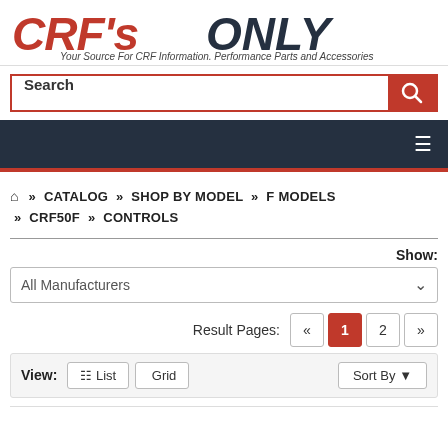[Figure (logo): CRF's ONLY logo with tagline: Your Source For CRF Information, Performance Parts and Accessories]
Search
[Figure (screenshot): Dark navy navigation bar with hamburger menu icon on right]
Home » CATALOG » SHOP BY MODEL » F MODELS » CRF50F » CONTROLS
Show:
All Manufacturers
Result Pages: « 1 2 »
View: List Grid Sort By